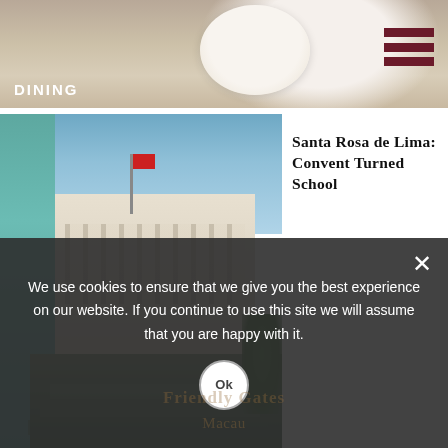[Figure (photo): Top banner showing a white plate/dining scene, partially visible, with DINING label overlay]
DINING
[Figure (photo): Colonial building with teal wall on left and white multi-story facade with columns and stairs; red flag visible. CULTURE label overlay.]
CULTURE
Santa Rosa de Lima: Convent Turned School
[Figure (photo): Dark atmospheric bar interior showing ornate bronze/copper goblet on pedestal, gold vertical bars in background.]
Bar Patuá at MGM Macau: Language of Mixology
We use cookies to ensure that we give you the best experience on our website. If you continue to use this site we will assume that you are happy with it.